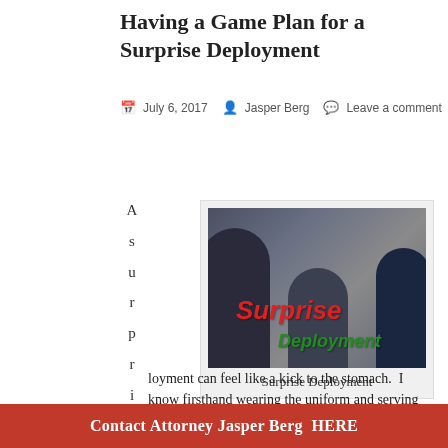Having a Game Plan for a Surprise Deployment
July 6, 2017   Jasper Berg   Leave a comment
[Figure (photo): Photo of people sitting at a table with overlaid text 'Surprise Deployment' in red and green italic fonts]
Surprise Deployment
A surprise deployment can feel like a kick to the stomach.  I know firsthand wearing the uniform and serving our
Contact Attorney Jasper Berg  HERE